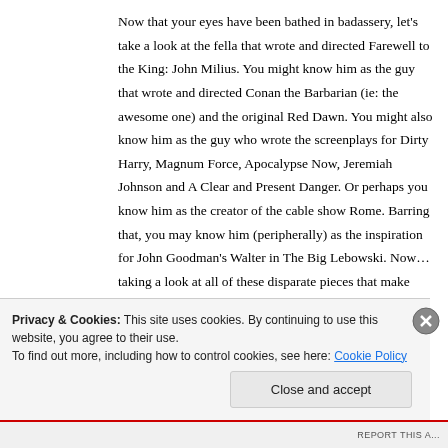Now that your eyes have been bathed in badassery, let's take a look at the fella that wrote and directed Farewell to the King: John Milius. You might know him as the guy that wrote and directed Conan the Barbarian (ie: the awesome one) and the original Red Dawn. You might also know him as the guy who wrote the screenplays for Dirty Harry, Magnum Force, Apocalypse Now, Jeremiah Johnson and A Clear and Present Danger. Or perhaps you know him as the creator of the cable show Rome. Barring that, you may know him (peripherally) as the inspiration for John Goodman's Walter in The Big Lebowski. Now… taking a look at all of these disparate pieces that make
Privacy & Cookies: This site uses cookies. By continuing to use this website, you agree to their use.
To find out more, including how to control cookies, see here: Cookie Policy
Close and accept